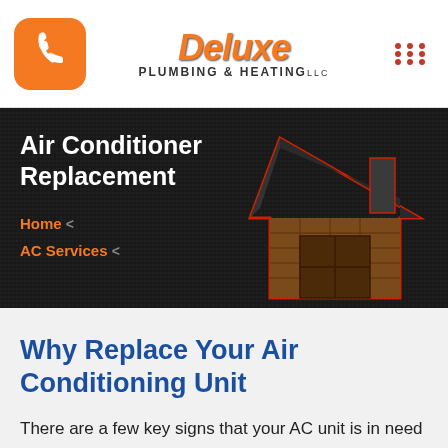Deluxe Plumbing & Heating LLC
[Figure (screenshot): Website header with orange phone icon button on left, Deluxe Plumbing & Heating logo in center, and grid menu icon on right]
Air Conditioner Replacement
Home <
AC Services <
[Figure (illustration): Cartoon illustration of a broken-down house structure with dark roof against a dark background]
Why Replace Your Air Conditioning Unit
There are a few key signs that your AC unit is in need of a replacement. Firstly,